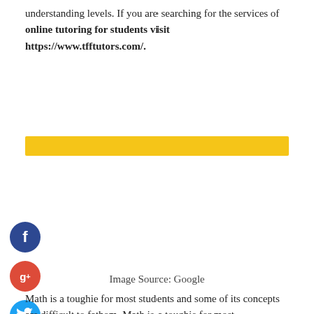understanding levels. If you are searching for the services of online tutoring for students visit https://www.tfftutors.com/.
[Figure (other): Yellow horizontal banner/bar]
[Figure (other): Social media icons: Facebook (dark blue circle with f), Google+ (red circle with g+), Twitter (light blue circle with bird)]
Image Source: Google
Math is a toughie for most students and some of its concepts are difficult to fathom. Math is a toughie for most